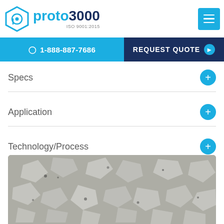[Figure (logo): Proto3000 logo with hexagon icon and ISO 9001:2015 text]
☎ 1-888-887-7686   REQUEST QUOTE ▶
Specs
Application
Technology/Process
LEARN MORE
[Figure (photo): Microscopic or material surface texture image showing grey granular/crystalline material with lighter irregular shapes]